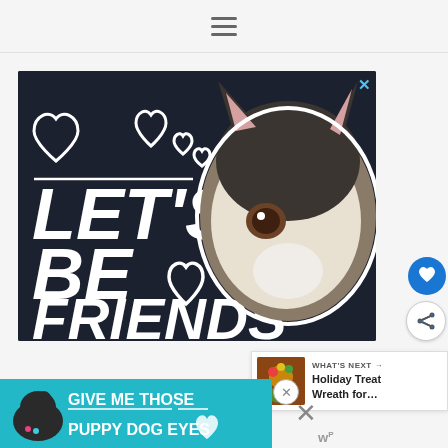≡ (hamburger menu icon)
[Figure (photo): Dark background advertisement showing a Siberian Husky dog face with white outlined hearts and bold white text reading LET'S BE FRIENDS]
[Figure (photo): What's Next panel showing Holiday Treat Wreath thumbnail with text 'WHAT'S NEXT → Holiday Treat Wreath for...']
[Figure (photo): Teal/cyan bottom banner advertisement showing a dog with text GIVE ME THOSE PUPPY DOG EYES with heart icon]